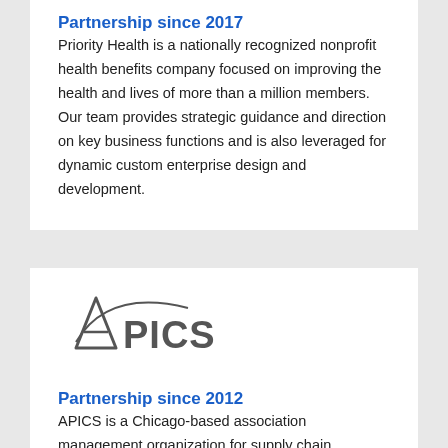Partnership since 2017
Priority Health is a nationally recognized nonprofit health benefits company focused on improving the health and lives of more than a million members. Our team provides strategic guidance and direction on key business functions and is also leveraged for dynamic custom enterprise design and development.
[Figure (logo): APICS logo — stylized A with arc above and 'PICS' text]
Partnership since 2012
APICS is a Chicago-based association management organization for supply chain management and is a provider of research, education and certification programs.